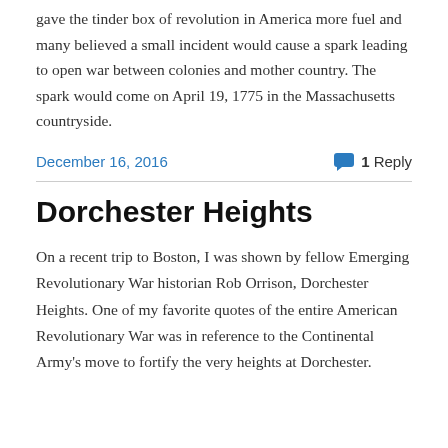gave the tinder box of revolution in America more fuel and many believed a small incident would cause a spark leading to open war between colonies and mother country. The spark would come on April 19, 1775 in the Massachusetts countryside.
December 16, 2016   1 Reply
Dorchester Heights
On a recent trip to Boston, I was shown by fellow Emerging Revolutionary War historian Rob Orrison, Dorchester Heights. One of my favorite quotes of the entire American Revolutionary War was in reference to the Continental Army's move to fortify the very heights at Dorchester.